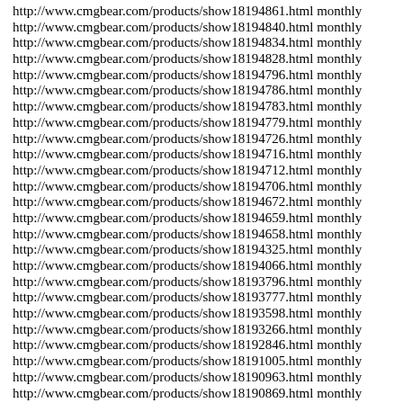http://www.cmgbear.com/products/show18194861.html monthly
http://www.cmgbear.com/products/show18194840.html monthly
http://www.cmgbear.com/products/show18194834.html monthly
http://www.cmgbear.com/products/show18194828.html monthly
http://www.cmgbear.com/products/show18194796.html monthly
http://www.cmgbear.com/products/show18194786.html monthly
http://www.cmgbear.com/products/show18194783.html monthly
http://www.cmgbear.com/products/show18194779.html monthly
http://www.cmgbear.com/products/show18194726.html monthly
http://www.cmgbear.com/products/show18194716.html monthly
http://www.cmgbear.com/products/show18194712.html monthly
http://www.cmgbear.com/products/show18194706.html monthly
http://www.cmgbear.com/products/show18194672.html monthly
http://www.cmgbear.com/products/show18194659.html monthly
http://www.cmgbear.com/products/show18194658.html monthly
http://www.cmgbear.com/products/show18194325.html monthly
http://www.cmgbear.com/products/show18194066.html monthly
http://www.cmgbear.com/products/show18193796.html monthly
http://www.cmgbear.com/products/show18193777.html monthly
http://www.cmgbear.com/products/show18193598.html monthly
http://www.cmgbear.com/products/show18193266.html monthly
http://www.cmgbear.com/products/show18192846.html monthly
http://www.cmgbear.com/products/show18191005.html monthly
http://www.cmgbear.com/products/show18190963.html monthly
http://www.cmgbear.com/products/show18190869.html monthly